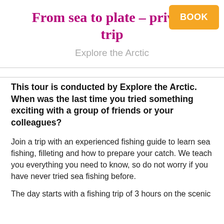From sea to plate – private trip
Explore the Arctic
This tour is conducted by Explore the Arctic. When was the last time you tried something exciting with a group of friends or your colleagues?
Join a trip with an experienced fishing guide to learn sea fishing, filleting and how to prepare your catch. We teach you everything you need to know, so do not worry if you have never tried sea fishing before.
The day starts with a fishing trip of 3 hours on the scenic